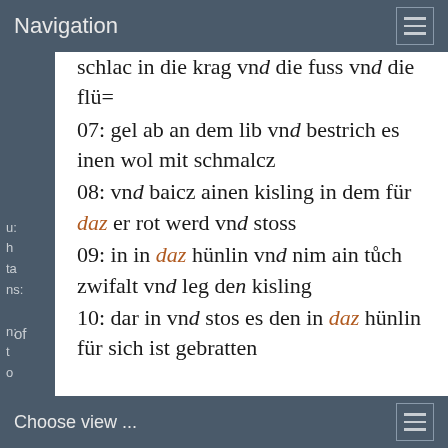Navigation
schlac in die krag vnd die fuss vnd die flü=
07: gel ab an dem lib vnd bestrich es inen wol mit schmalcz
08: vnd baicz ainen kisling in dem für daz er rot werd vnd stoss
09: in in daz hünlin vnd nim ain tůch zwifalt vnd leg den kisling
10: dar in vnd stos es den in daz hünlin für sich ist gebratten
Choose view ...